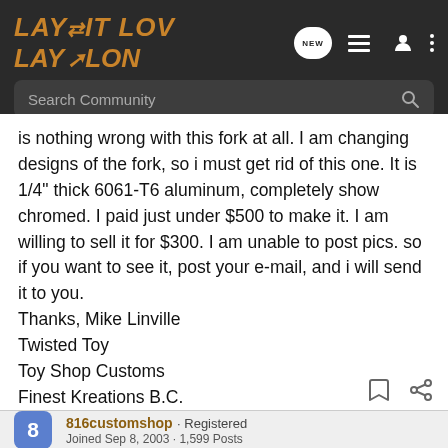LAY IT LOW — Search Community
is nothing wrong with this fork at all. I am changing designs of the fork, so i must get rid of this one. It is 1/4" thick 6061-T6 aluminum, completely show chromed. I paid just under $500 to make it. I am willing to sell it for $300. I am unable to post pics. so if you want to see it, post your e-mail, and i will send it to you.
Thanks, Mike Linville
Twisted Toy
Toy Shop Customs
Finest Kreations B.C.
816customshop · Registered
Joined Sep 8, 2003 · 1,599 Posts